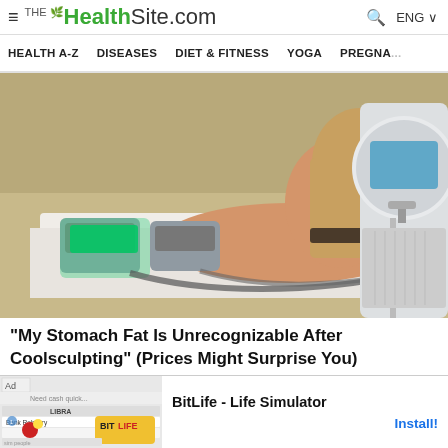THE HealthSite.com | HEALTH A-Z  DISEASES  DIET & FITNESS  YOGA  PREGNA...
[Figure (photo): A woman lying face-down on a treatment bed receiving a body sculpting/coolsculpting procedure. Medical devices with glowing green applicators are attached to her lower body. A large white medical machine with a circular screen is visible in the background.]
"My Stomach Fat Is Unrecognizable After Coolsculpting" (Prices Might Surprise You)
[Figure (screenshot): Advertisement banner for BitLife - Life Simulator app. Left side shows a colorful app screenshot with game UI elements including 'Bank Robbery' option and cartoon characters. Right side shows text 'BitLife - Life Simulator' and an 'Install!' button in blue.]